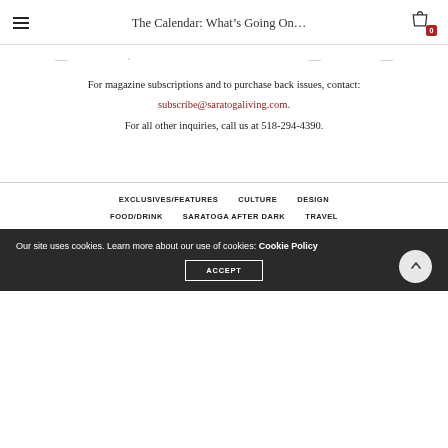The Calendar: What's Going On...
For magazine subscriptions and to purchase back issues, contact:
subscribe@saratogaliving.com.
For all other inquiries, call us at 518-294-4390.
EXCLUSIVES/FEATURES
CULTURE
DESIGN
FOOD/DRINK
SARATOGA AFTER DARK
TRAVEL
Our site uses cookies. Learn more about our use of cookies: Cookie Policy
ACCEPT